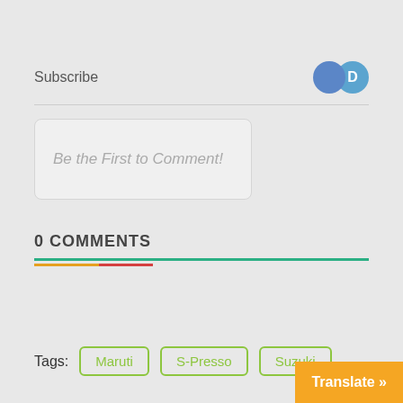Subscribe
[Figure (illustration): Two overlapping user avatar circles: one solid blue circle and one light blue circle with letter D]
Be the First to Comment!
0 COMMENTS
Tags:
Maruti
S-Presso
Suzuki
Translate »